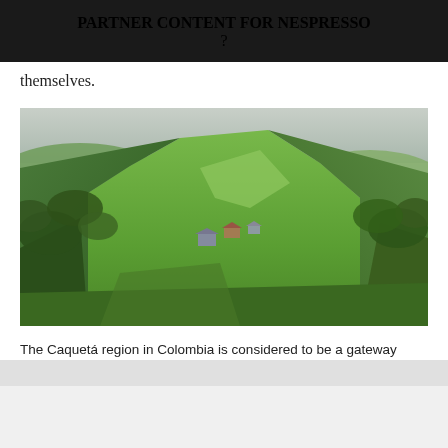PARTNER CONTENT FOR NESPRESSO
themselves.
[Figure (photo): Aerial view of a green mountainous ridge in the Caquetá region of Colombia, with lush forest on either side of a grassy spine, and small farm structures visible in the middle distance.]
The Caquetá region in Colombia is considered to be a gateway